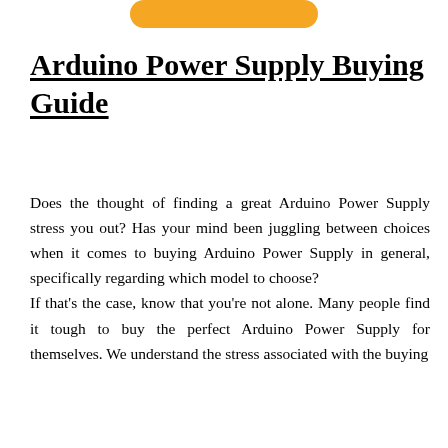[Figure (other): Partial orange rounded button/banner partially visible at top of page]
Arduino Power Supply Buying Guide
Does the thought of finding a great Arduino Power Supply stress you out? Has your mind been juggling between choices when it comes to buying Arduino Power Supply in general, specifically regarding which model to choose? If that's the case, know that you're not alone. Many people find it tough to buy the perfect Arduino Power Supply for themselves. We understand the stress associated with the buying